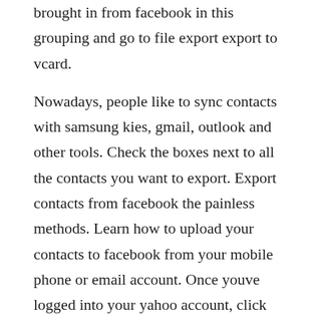brought in from facebook in this grouping and go to file export export to vcard.
Nowadays, people like to sync contacts with samsung kies, gmail, outlook and other tools. Check the boxes next to all the contacts you want to export. Export contacts from facebook the painless methods. Learn how to upload your contacts to facebook from your mobile phone or email account. Once youve logged into your yahoo account, click on contacts icon at the top left. How can i export data from facebook into my address book. How to import facebook contacts to address book.